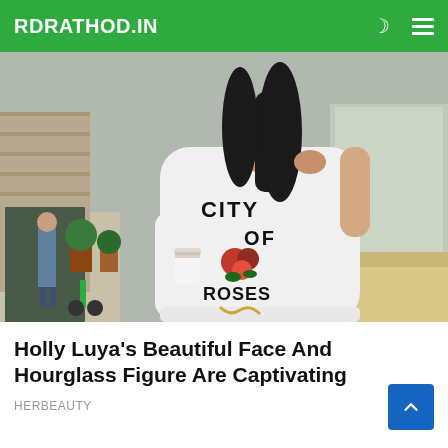RDRATHOD.IN
[Figure (photo): Woman standing outdoors showing the back of a white long-sleeve shirt that reads 'CITY OF ROSES', holding a coffee cup, with a street scene in background.]
Holly Luya's Beautiful Face And Hourglass Figure Are Captivating
HERBEAUTY